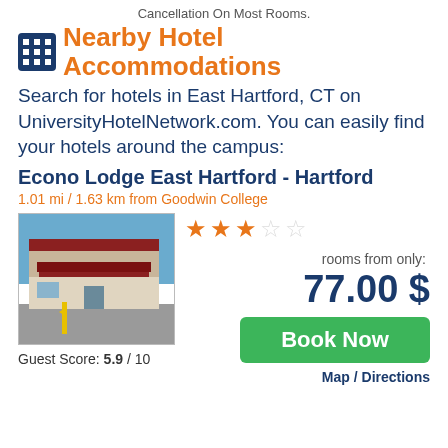Cancellation On Most Rooms.
Nearby Hotel Accommodations
Search for hotels in East Hartford, CT on UniversityHotelNetwork.com. You can easily find your hotels around the campus:
Econo Lodge East Hartford - Hartford
1.01 mi / 1.63 km from Goodwin College
[Figure (photo): Photo of Econo Lodge East Hartford motel exterior with canopy entrance, red roof trim, parking lot]
Guest Score: 5.9 / 10
rooms from only: 77.00 $
Book Now
Map / Directions